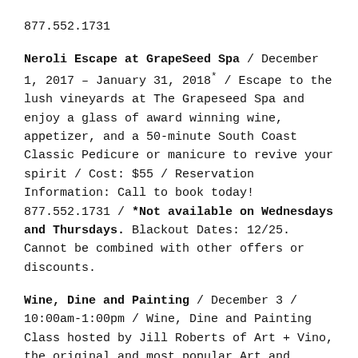877.552.1731
Neroli Escape at GrapeSeed Spa / December 1, 2017 – January 31, 2018* / Escape to the lush vineyards at The Grapeseed Spa and enjoy a glass of award winning wine, appetizer, and a 50-minute South Coast Classic Pedicure or manicure to revive your spirit / Cost: $55 / Reservation Information: Call to book today! 877.552.1731 / *Not available on Wednesdays and Thursdays. Blackout Dates: 12/25. Cannot be combined with other offers or discounts.
Wine, Dine and Painting / December 3 / 10:00am-1:00pm / Wine, Dine and Painting Class hosted by Jill Roberts of Art + Vino, the original and most popular Art and Painting class in the Temecula Valley! Take in the views and tap into your inner Picasso, then enjoy a fantastic lunch at The Vineyard Rose Restaurant! This package comes with two three-hour instruction and supplies to paint your masterpiece, and follows with a select lunch menu and glass of wine to enjoy